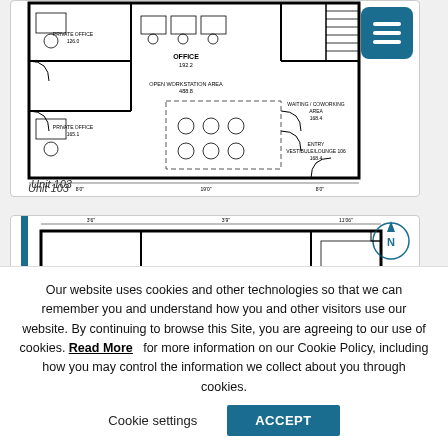[Figure (schematic): Architectural floor plan of Unit 103 showing office layout with private office, open workstation area, waiting/coworking area, and vestibule. Drawn in black and white with room labels and dimensions.]
Unit 103
[Figure (schematic): Architectural floor plan schematic (partial view) showing entry area with vestibule/reception room and north arrow indicator. Blue vertical accent line visible on left side.]
Our website uses cookies and other technologies so that we can remember you and understand how you and other visitors use our website. By continuing to browse this Site, you are agreeing to our use of cookies. Read More   for more information on our Cookie Policy, including how you may control the information we collect about you through cookies.
Cookie settings
ACCEPT